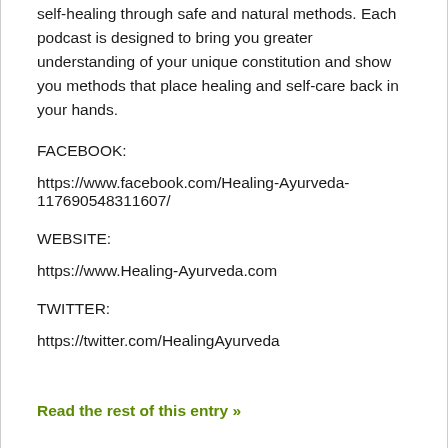self-healing through safe and natural methods. Each podcast is designed to bring you greater understanding of your unique constitution and show you methods that place healing and self-care back in your hands.
FACEBOOK:
https://www.facebook.com/Healing-Ayurveda-117690548311607/
WEBSITE:
https://www.Healing-Ayurveda.com
TWITTER:
https://twitter.com/HealingAyurveda
Read the rest of this entry »